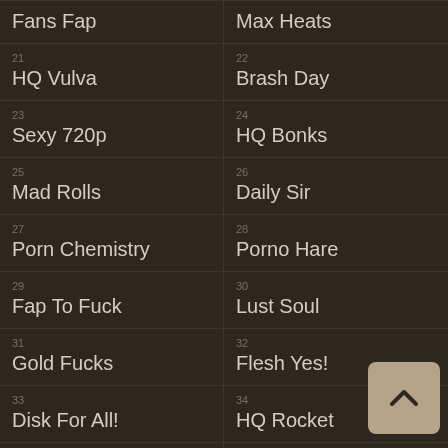Fans Fap
Max Heats
21 HQ Vulva
22 Brash Day
23 Sexy 720p
24 HQ Bonks
25 Mad Rolls
26 Daily Sir
27 Porn Chemistry
28 Porno Hare
29 Fap To Fuck
30 Lust Soul
31 Gold Fucks
32 Flesh Yes!
33 Disk For All!
34 HQ Rocket
35 XXX Stop Me!
36 Wank Case